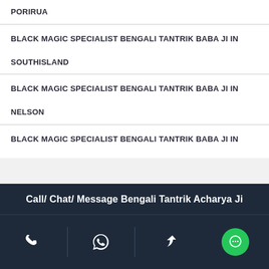PORIRUA
BLACK MAGIC SPECIALIST BENGALI TANTRIK BABA JI IN SOUTHISLAND
BLACK MAGIC SPECIALIST BENGALI TANTRIK BABA JI IN NELSON
BLACK MAGIC SPECIALIST BENGALI TANTRIK BABA JI IN CHRISTCHURCH
BLACK MAGIC SPECIALIST BENGALI TANTRIK BABA JI IN TIMARU
BLACK MAGIC SPECIALIST BENGALI TANTRIK BABA JI IN
Call/ Chat/ Message Bengali Tantrik Acharya Ji